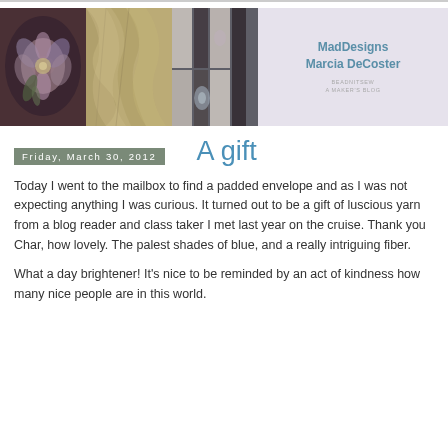[Figure (photo): Blog banner with four panels: decorative flower, lace knitting, mosaic patchwork, and MadDesigns logo]
Friday, March 30, 2012
A gift
Today I went to the mailbox to find a padded envelope and as I was not expecting anything I was curious. It turned out to be a gift of luscious yarn from a blog reader and class taker I met last year on the cruise. Thank you Char, how lovely. The palest shades of blue, and a really intriguing fiber.
What a day brightener! It's nice to be reminded by an act of kindness how many nice people are in this world.